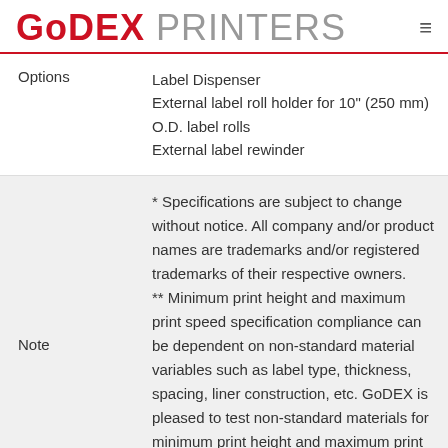GoDEX PRINTERS
|  |  |
| --- | --- |
| Options | Label Dispenser
External label roll holder for 10" (250 mm) O.D. label rolls
External label rewinder |
| Note | * Specifications are subject to change without notice. All company and/or product names are trademarks and/or registered trademarks of their respective owners.
** Minimum print height and maximum print speed specification compliance can be dependent on non-standard material variables such as label type, thickness, spacing, liner construction, etc. GoDEX is pleased to test non-standard materials for minimum print height and maximum print |